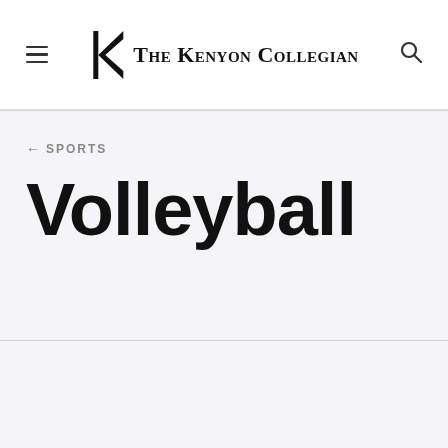The Kenyon Collegian
← SPORTS
Volleyball